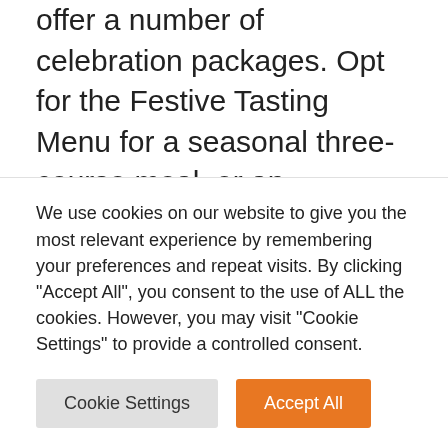offer a number of celebration packages. Opt for the Festive Tasting Menu for a seasonal three-course meal, or an indulgent Festive Feasting Menu of 7 dishes, including Fire Roasted Market Fish, Coal Roasted Pork Belly, and Black Angus Prime Rib with a selection of delicious sides. From £45- £65 pp. 3. The Draft House Tower Bridge The Draft House Tower Bridge team can help you plan the perfect party to suit your needs, whether it's for a full on festive bash, a meal with pals, or just a few celebratory drinks. They offer a Festive Finger
We use cookies on our website to give you the most relevant experience by remembering your preferences and repeat visits. By clicking "Accept All", you consent to the use of ALL the cookies. However, you may visit "Cookie Settings" to provide a controlled consent.